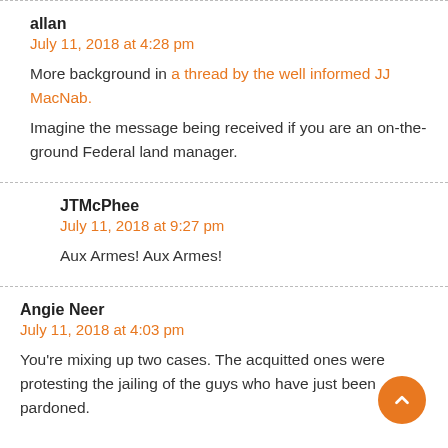allan
July 11, 2018 at 4:28 pm
More background in a thread by the well informed JJ MacNab.
Imagine the message being received if you are an on-the-ground Federal land manager.
JTMcPhee
July 11, 2018 at 9:27 pm
Aux Armes! Aux Armes!
Angie Neer
July 11, 2018 at 4:03 pm
You're mixing up two cases. The acquitted ones were protesting the jailing of the guys who have just been pardoned.